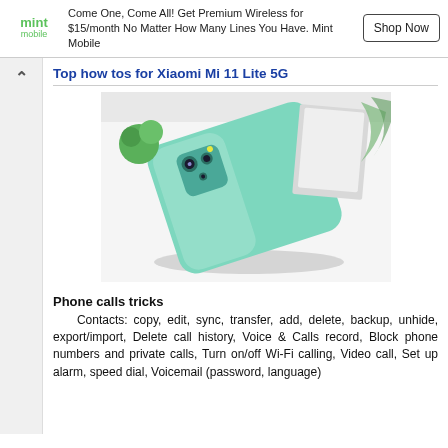[Figure (infographic): Mint Mobile advertisement banner with green logo on left, ad text in center, and 'Shop Now' button on right. Text reads: Come One, Come All! Get Premium Wireless for $15/month No Matter How Many Lines You Have. Mint Mobile]
Top how tos for Xiaomi Mi 11 Lite 5G
[Figure (photo): Photo of Xiaomi Mi 11 Lite 5G smartphone in mint/teal green color lying on a white surface, viewed from the back, with a plant and papers in background.]
Phone calls tricks
Contacts: copy, edit, sync, transfer, add, delete, backup, unhide, export/import, Delete call history, Voice & Calls record, Block phone numbers and private calls, Turn on/off Wi-Fi calling, Video call, Set up alarm, speed dial, Voicemail (password, language)